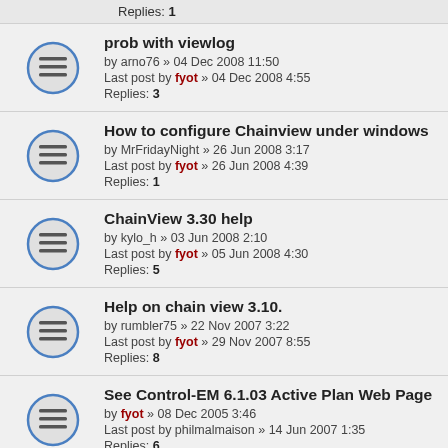Replies: 1
prob with viewlog
by arno76 » 04 Dec 2008 11:50
Last post by fyot » 04 Dec 2008 4:55
Replies: 3
How to configure Chainview under windows
by MrFridayNight » 26 Jun 2008 3:17
Last post by fyot » 26 Jun 2008 4:39
Replies: 1
ChainView 3.30 help
by kylo_h » 03 Jun 2008 2:10
Last post by fyot » 05 Jun 2008 4:30
Replies: 5
Help on chain view 3.10.
by rumbler75 » 22 Nov 2007 3:22
Last post by fyot » 29 Nov 2007 8:55
Replies: 8
See Control-EM 6.1.03 Active Plan Web Page
by fyot » 08 Dec 2005 3:46
Last post by philmalmaison » 14 Jun 2007 1:35
Replies: 6